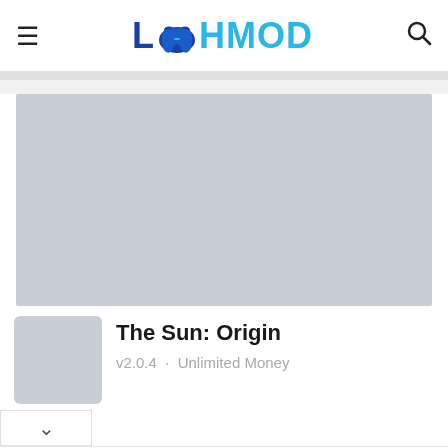LAHMOD
[Figure (screenshot): Gray placeholder banner image for The Sun: Origin game]
[Figure (illustration): Gray placeholder app icon for The Sun: Origin]
The Sun: Origin
v2.0.4 · Unlimited Money
Step by Step Training
Now Is Your Chance to Learn the Famous Secrets of Tai Chi. Come and Visit Us. Shaolin West SA
Open